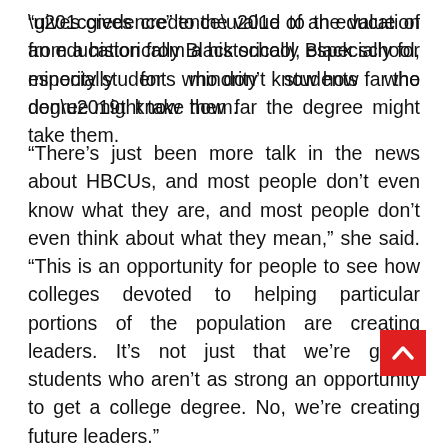“gives credence” to the value of an education from a historically Black school, especially for minority students who don’t know how far the degree might take them.
“There’s just been more talk in the news about HBCUs, and most people don’t even know what they are, and most people don’t even think about what they mean,” she said. “This is an opportunity for people to see how colleges devoted to helping particular portions of the population are creating leaders. It’s not just that we’re giving students who aren’t as strong an opportunity to get a college degree. No, we’re creating future leaders.”
When classes resume, Silver said, she expects her students—